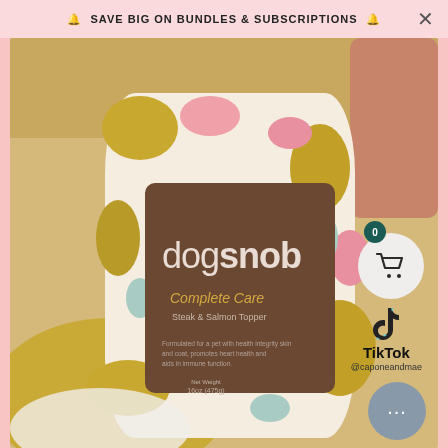🔔 SAVE BIG ON BUNDLES & SUBSCRIPTIONS 🔔
[Figure (photo): Hand holding a dogsnob Complete Care Steak & Salmon Topper pet food container/pouch. The container has a colorful pattern with pink, yellow/olive, and light blue organic blob shapes on a white background. A brown label in the center reads 'dogsnob' in large sans-serif text, with 'Complete Care' in gold and 'Steak & Salmon Topper' below. Net Weight listed at bottom of label. Background shows a yellow bowl and wooden surface.]